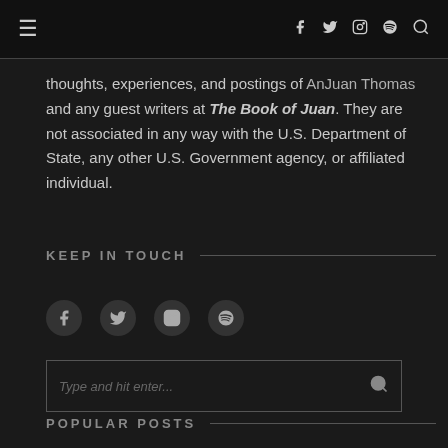≡  f  𝕏  ◎  ⊕  🔍
thoughts, experiences, and postings of AnJuan Thomas and any guest writers at The Book of Juan. They are not associated in any way with the U.S. Department of State, any other U.S. Government agency, or affiliated individual.
KEEP IN TOUCH
[Figure (other): Social media icons row: Facebook, Twitter, Instagram, Spotify]
[Figure (other): Search input box with placeholder 'Type and hit enter...' and search icon]
POPULAR POSTS